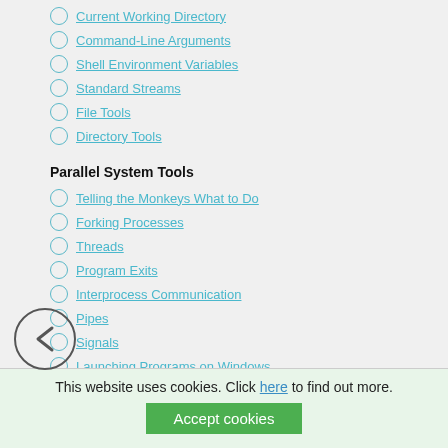Current Working Directory
Command-Line Arguments
Shell Environment Variables
Standard Streams
File Tools
Directory Tools
Parallel System Tools
Telling the Monkeys What to Do
Forking Processes
Threads
Program Exits
Interprocess Communication
Pipes
Signals
Launching Programs on Windows
Other System Tools
Larger System Examples I
Splits and Joins and Alien Invasions
A Regression Test Script
This website uses cookies. Click here to find out more.